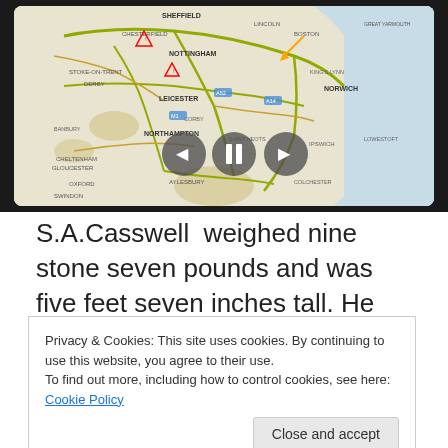[Figure (map): A tablet/screen showing a road map of central England including cities such as Sheffield, Nottingham, Leicester, Norwich, and surrounding areas. The map shows road networks with warning triangle icons. Three playback control buttons (back, pause, forward) are overlaid on the map.]
S.A.Casswell  weighed nine stone seven pounds and was five feet seven inches tall. He took a size eight in gloves, a
Privacy & Cookies: This site uses cookies. By continuing to use this website, you agree to their use.
To find out more, including how to control cookies, see here: Cookie Policy